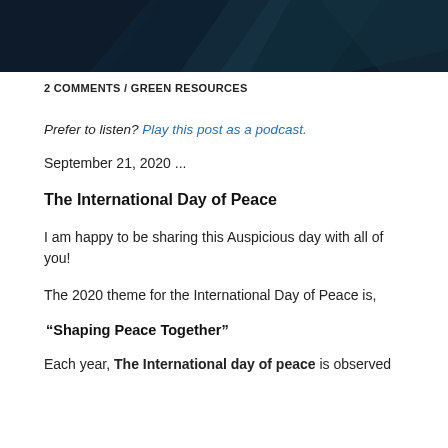[Figure (illustration): Dark navy header banner with geometric triangular shapes in dark teal/blue tones]
2 COMMENTS / GREEN RESOURCES
Prefer to listen? Play this post as a podcast.
September 21, 2020 ...
The International Day of Peace
I am happy to be sharing this Auspicious day with all of you!
The 2020 theme for the International Day of Peace is,
“Shaping Peace Together”
Each year, The International day of peace is observed